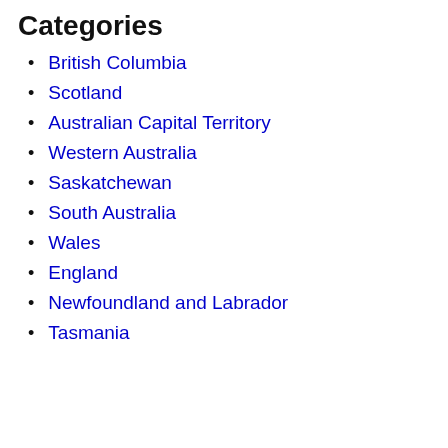Categories
British Columbia
Scotland
Australian Capital Territory
Western Australia
Saskatchewan
South Australia
Wales
England
Newfoundland and Labrador
Tasmania